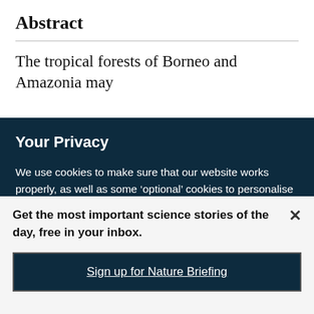Abstract
The tropical forests of Borneo and Amazonia may
Your Privacy

We use cookies to make sure that our website works properly, as well as some ‘optional’ cookies to personalise content and advertising, provide social media features and analyse how people use our site. By accepting some or all optional cookies you give consent to the processing of your personal data, including transfer to third parties, some in countries outside of the European Economic Area that do not offer the same data protection standards as the country where you live. You can decide which optional cookies to accept by clicking on ‘Manage Settings’, where you can
Get the most important science stories of the day, free in your inbox.
Sign up for Nature Briefing